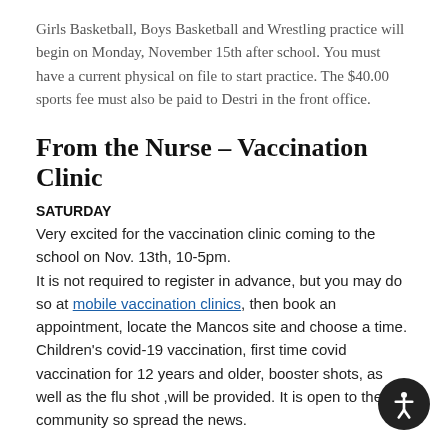Girls Basketball, Boys Basketball and Wrestling practice will begin on Monday, November 15th after school. You must have a current physical on file to start practice. The $40.00 sports fee must also be paid to Destri in the front office.
From the Nurse – Vaccination Clinic
SATURDAY
Very excited for the vaccination clinic coming to the school on Nov. 13th, 10-5pm.
It is not required to register in advance, but you may do so at mobile vaccination clinics, then book an appointment, locate the Mancos site and choose a time. Children's covid-19 vaccination, first time covid vaccination for 12 years and older, booster shots, as well as the flu shot ,will be provided. It is open to the community so spread the news.
As required yearly, I am reviewing each student's vaccination record. If the school does not have an up to date record, please be sure that we receive one soon. Also, if your child is exempt